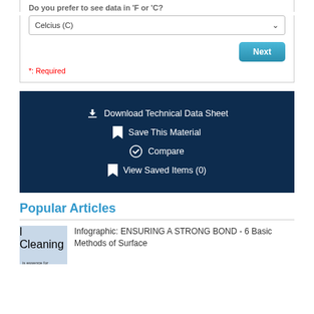Do you prefer to see data in 'F or 'C?
Celcius (C)
*: Required
[Figure (screenshot): Dark navy blue panel with white text links: Download Technical Data Sheet, Save This Material, Compare, View Saved Items (0)]
Popular Articles
[Figure (screenshot): Thumbnail image of surface cleaning infographic article]
Infographic: ENSURING A STRONG BOND - 6 Basic Methods of Surface